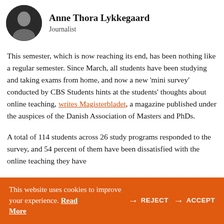[Figure (photo): Circular avatar photo of Anne Thora Lykkegaard, a journalist, shown in black and white.]
Anne Thora Lykkegaard
Journalist
This semester, which is now reaching its end, has been nothing like a regular semester. Since March, all students have been studying and taking exams from home, and now a new ‘mini survey’ conducted by CBS Students hints at the students’ thoughts about online teaching, writes Magisterbladet, a magazine published under the auspices of the Danish Association of Masters and PhDs.
A total of 114 students across 26 study programs responded to the survey, and 54 percent of them have been dissatisfied with the online teaching they have
This website uses cookies to improve your experience. Read More REJECT ACCEPT